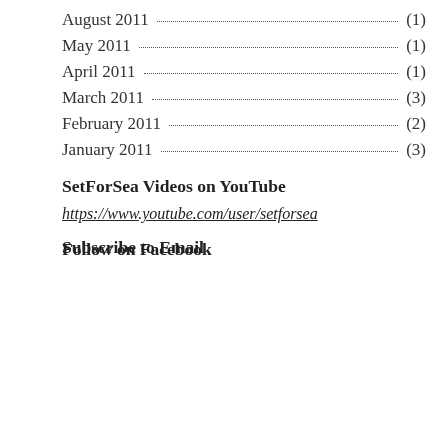August 2011 (1)
May 2011 (1)
April 2011 (1)
March 2011 (3)
February 2011 (2)
January 2011 (3)
SetForSea Videos on YouTube
https://www.youtube.com/user/setforsea
Follow on Facebook
Subscribe to Email